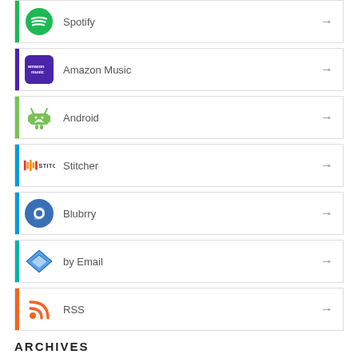Spotify
Amazon Music
Android
Stitcher
Blubrry
by Email
RSS
ARCHIVES